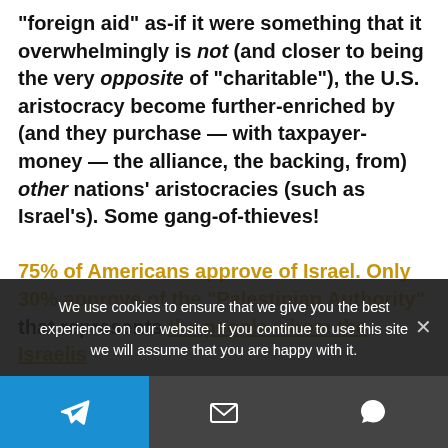“foreign aid” as-if it were something that it overwhelmingly is not (and closer to being the very opposite of “charitable”), the U.S. aristocracy become further-enriched by (and they purchase — with taxpayer-money — the alliance, the backing, from) other nations’ aristocracies (such as Israel’s). Some gang-of-thieves!
75% of Americans approve of Israel. Only 30% approve of the “Palestinian Authority” that represents the people whom the Israelis
We use cookies to ensure that we give you the best experience on our website. If you continue to use this site we will assume that you are happy with it.